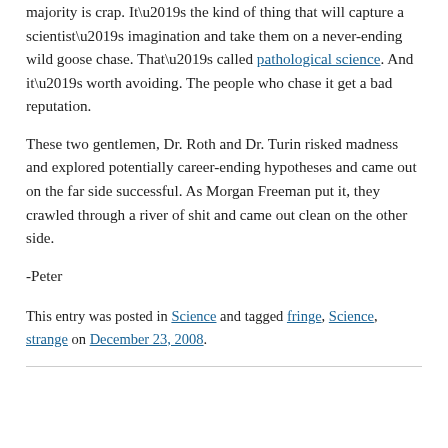majority is crap. It’s the kind of thing that will capture a scientist’s imagination and take them on a never-ending wild goose chase. That’s called pathological science. And it’s worth avoiding. The people who chase it get a bad reputation.
These two gentlemen, Dr. Roth and Dr. Turin risked madness and explored potentially career-ending hypotheses and came out on the far side successful. As Morgan Freeman put it, they crawled through a river of shit and came out clean on the other side.
-Peter
This entry was posted in Science and tagged fringe, Science, strange on December 23, 2008.